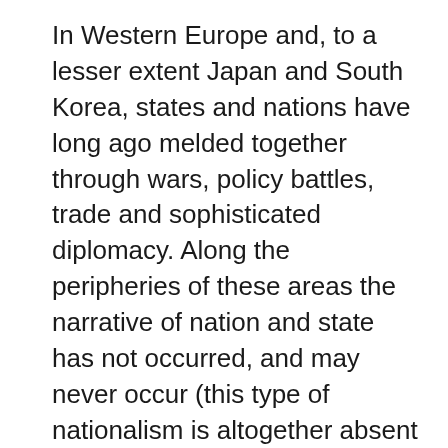In Western Europe and, to a lesser extent Japan and South Korea, states and nations have long ago melded together through wars, policy battles, trade and sophisticated diplomacy. Along the peripheries of these areas the narrative of nation and state has not occurred, and may never occur (this type of nationalism is altogether absent from the New World republics for a number of fascinating-but-digressing reasons). I think the factions that encourage this narrative, national socialists all of them, are just as bad for their respective societies as are the conservatives (Islamists in the Muslim world, monarchists in other parts,